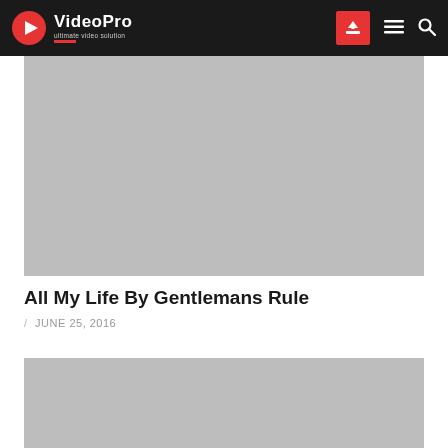VideoPro — Ultimate video solution
[Figure (photo): Gray placeholder thumbnail for video]
All My Life By Gentlemans Rule
/ JUNE 25, 2016
[Figure (photo): Gray placeholder thumbnail for second video]